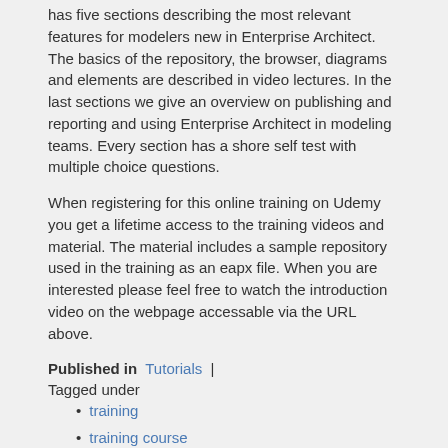has five sections describing the most relevant features for modelers new in Enterprise Architect. The basics of the repository, the browser, diagrams and elements are described in video lectures. In the last sections we give an overview on publishing and reporting and using Enterprise Architect in modeling teams. Every section has a shore self test with multiple choice questions.
When registering for this online training on Udemy you get a lifetime access to the training videos and material. The material includes a sample repository used in the training as an eapx file. When you are interested please feel free to watch the introduction video on the webpage accessable via the URL above.
Published in Tutorials | Tagged under
training
training course
online
Read more...
Thursday, 17 October 2019 12:38
Major Facelift for the Panorama 360 Insurance and Wealth Management